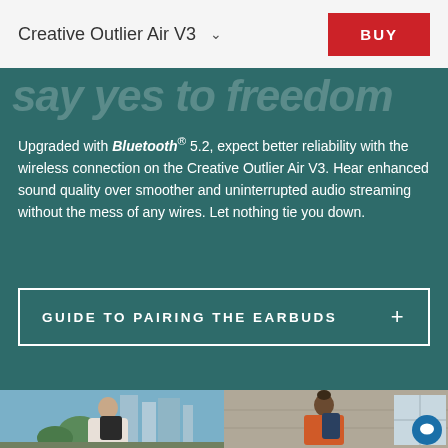Creative Outlier Air V3
say yes to freedom
Upgraded with Bluetooth® 5.2, expect better reliability with the wireless connection on the Creative Outlier Air V3. Hear enhanced sound quality over smoother and uninterrupted audio streaming without the mess of any wires. Let nothing tie you down.
GUIDE TO PAIRING THE EARBUDS +
[Figure (photo): Two photos side by side: left shows a smiling man with a backpack in an urban setting with city buildings; right shows a man with curly hair bun wearing an orange shirt with a backpack standing by a concrete wall.]